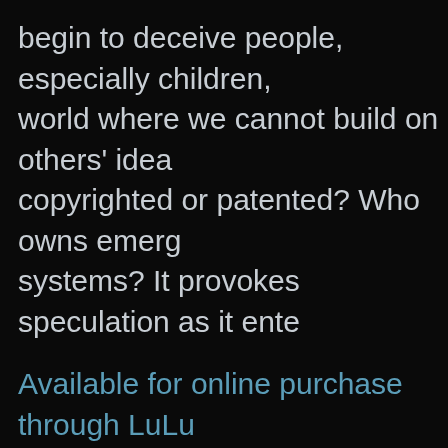begin to deceive people, especially children, world where we cannot build on others' ideas copyrighted or patented? Who owns emerging systems? It provokes speculation as it enters
Available for online purchase through LuLu
Also available as a free downloadable PDF even if it's harsh criticism. : )
This work is licensed under the Creative Commons United States License, meaning you can modify it, rewrite it, and even make money off it, but original work and you have to give your derivative